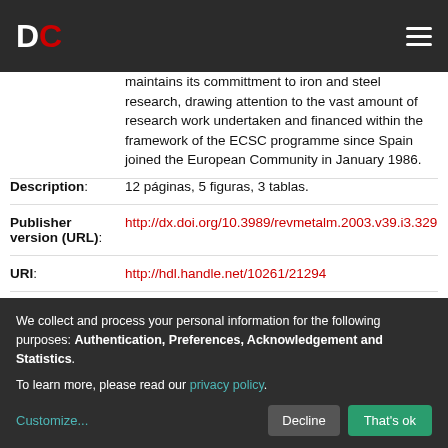DC
maintains its committment to iron and steel research, drawing attention to the vast amount of research work undertaken and financed within the framework of the ECSC programme since Spain joined the European Community in January 1986.
| Description: | 12 páginas, 5 figuras, 3 tablas. |
| Publisher version (URL): | http://dx.doi.org/10.3989/revmetalm.2003.v39.i3.329 |
| URI: | http://hdl.handle.net/10261/21294 |
We collect and process your personal information for the following purposes: Authentication, Preferences, Acknowledgement and Statistics. To learn more, please read our privacy policy.
Customize... Decline That's ok